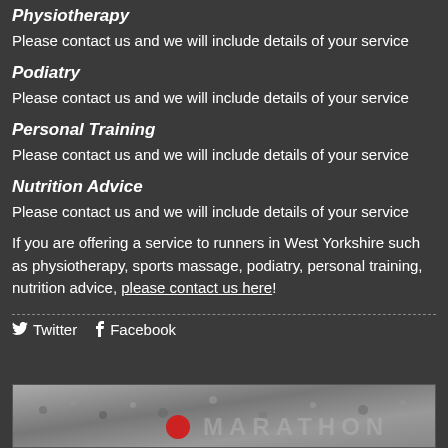Physiotherapy
Please contact us and we will include details of your service
Podiatry
Please contact us and we will include details of your service
Personal Training
Please contact us and we will include details of your service
Nutrition Advice
Please contact us and we will include details of your service
If you are offering a service to runners in West Yorkshire such as physiotherapy, sports massage, podiatry, personal training, nutrition advice, please contact us here!
Twitter  Facebook
[Figure (photo): Crowd of runners at a marathon event with partial text overlay]